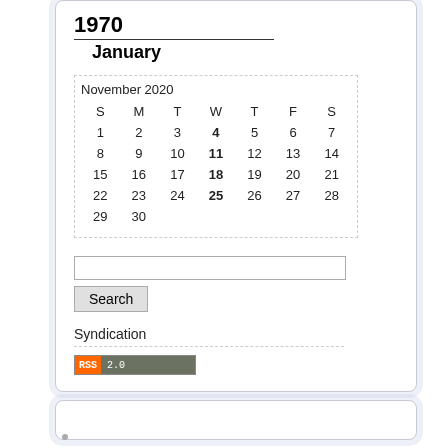1970
January
November 2020
| S | M | T | W | T | F | S |
| --- | --- | --- | --- | --- | --- | --- |
| 1 | 2 | 3 | 4 | 5 | 6 | 7 |
| 8 | 9 | 10 | 11 | 12 | 13 | 14 |
| 15 | 16 | 17 | 18 | 19 | 20 | 21 |
| 22 | 23 | 24 | 25 | 26 | 27 | 28 |
| 29 | 30 |  |  |  |  |  |
Search
Syndication
[Figure (other): RSS 2.0 badge — orange RSS label and gray 2.0 label]